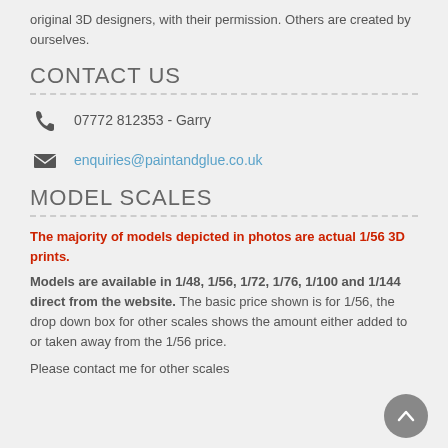original 3D designers, with their permission. Others are created by ourselves.
CONTACT US
07772 812353 - Garry
enquiries@paintandglue.co.uk
MODEL SCALES
The majority of models depicted in photos are actual 1/56 3D prints.
Models are available in 1/48, 1/56, 1/72, 1/76, 1/100 and 1/144 direct from the website. The basic price shown is for 1/56, the drop down box for other scales shows the amount either added to or taken away from the 1/56 price.
Please contact me for other scales